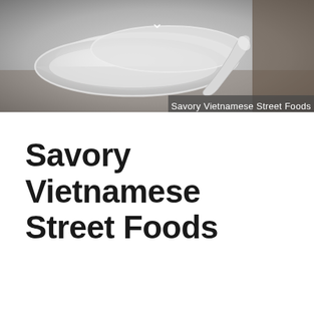[Figure (photo): Hero photo of white ceramic bowls and a spoon on a dark background, with a downward chevron arrow at the top center and a dark semi-transparent label overlay at the bottom right reading 'Savory Vietnamese Street Foods']
Savory Vietnamese Street Foods